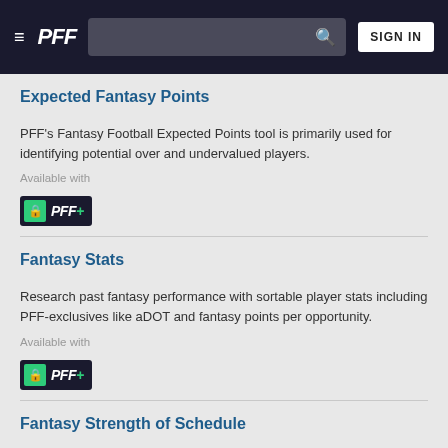PFF — SIGN IN
Expected Fantasy Points
PFF's Fantasy Football Expected Points tool is primarily used for identifying potential over and undervalued players.
Available with
[Figure (logo): PFF+ subscription badge with lock icon on dark background]
Fantasy Stats
Research past fantasy performance with sortable player stats including PFF-exclusives like aDOT and fantasy points per opportunity.
Available with
[Figure (logo): PFF+ subscription badge with lock icon on dark background]
Fantasy Strength of Schedule
PFF's Fantasy Strength of Schedule (SoS) metric provides a league-wide, season-long view of opponent matchups for each fantasy position.
Available with
[Figure (logo): PFF+ subscription badge with lock icon on dark background]